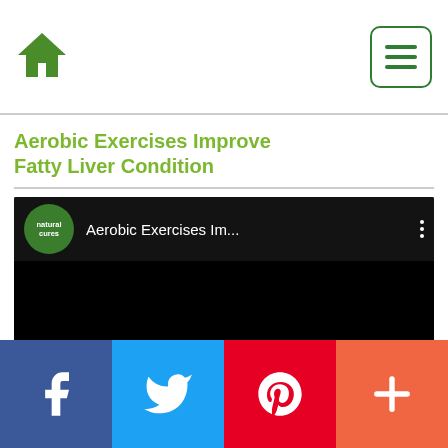Home | Menu
Aerobic Exercises Improve Fatty Liver Condition
[Figure (screenshot): YouTube video thumbnail showing a black screen with channel logo 'natural' in green circle and title text 'Aerobic Exercises Im...' with three-dot menu icon]
Like Us On Facebook!
Facebook | Twitter | Pinterest | More